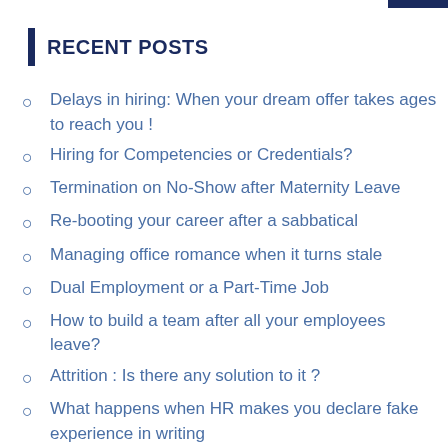RECENT POSTS
Delays in hiring: When your dream offer takes ages to reach you !
Hiring for Competencies or Credentials?
Termination on No-Show after Maternity Leave
Re-booting your career after a sabbatical
Managing office romance when it turns stale
Dual Employment or a Part-Time Job
How to build a team after all your employees leave?
Attrition : Is there any solution to it ?
What happens when HR makes you declare fake experience in writing
Managing Talent-Experience as a Vendor
How to turn around Late-Reporting to office?
Exit Formalities : When your employer is not ready to relieve you from your services!